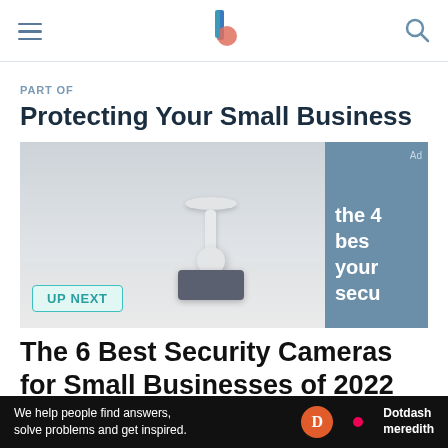Navigation header with hamburger menu, logo, and search icon
PART OF
Protecting Your Small Business
[Figure (photo): Photo of a ceiling-mounted security camera in white, with a rectangular mounting box below it, against a light gray ceiling background]
UP NEXT
[Figure (other): Blue-gray side panel with partial text 'the 4 bes your secu' in white bold font, with 'Ad' label in upper right]
The 6 Best Security Cameras for Small Businesses of 2022
We help people find answers, solve problems and get inspired.  Dotdash meredith